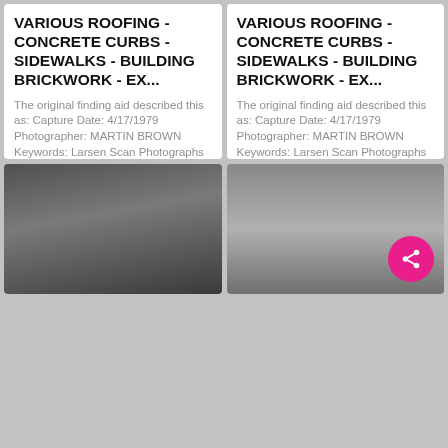[Figure (photo): Black and white industrial photo showing cylindrical tanks with 'CARBON DIOXIDE' text visible]
VARIOUS ROOFING - CONCRETE CURBS - SIDEWALKS - BUILDING BRICKWORK - EX...
The original finding aid described this as: Capture Date: 4/17/1979 Photographer: MARTIN BROWN Keywords: Larsen Scan Photographs Relating to Agency Activities, Facilities and Personnel
[Figure (photo): Black and white photo, plain gray tone, possibly sky or surface]
VARIOUS ROOFING - CONCRETE CURBS - SIDEWALKS - BUILDING BRICKWORK - EX...
The original finding aid described this as: Capture Date: 4/17/1979 Photographer: MARTIN BROWN Keywords: Larsen Scan Photographs Relating to Agency Activities, Facilities and Personnel
[Figure (photo): Black and white photo, dark tones, blurred building or structure]
[Figure (photo): Black and white close-up photo of a metal cylindrical object]